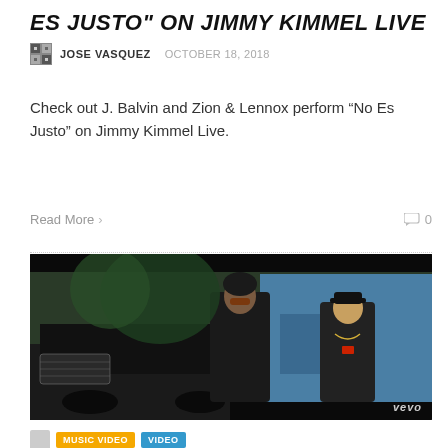ES JUSTO" ON JIMMY KIMMEL LIVE
JOSE VASQUEZ   OCTOBER 18, 2018
Check out J. Balvin and Zion & Lennox perform “No Es Justo” on Jimmy Kimmel Live.
Read More >   0
[Figure (photo): Music video still showing two male artists in black clothing standing outdoors near a luxury car and a blue building, with vevo watermark in bottom right corner.]
MUSIC VIDEO   VIDEO